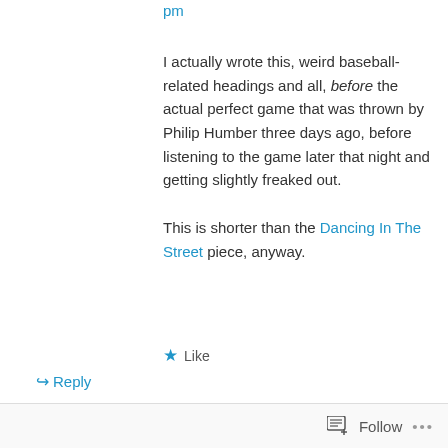pm
I actually wrote this, weird baseball-related headings and all, before the actual perfect game that was thrown by Philip Humber three days ago, before listening to the game later that night and getting slightly freaked out.

This is shorter than the Dancing In The Street piece, anyway.
★ Like
↪ Reply
Ed Pauli on April 25, 2012 at 12:42 pm
Follow ...